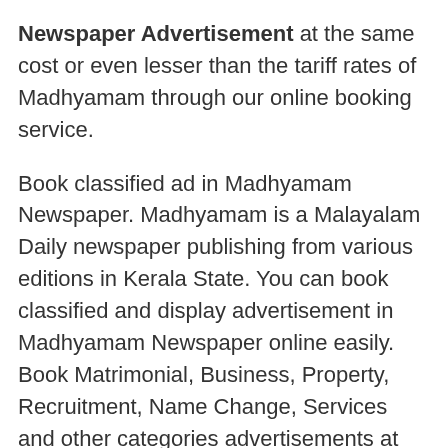Newspaper Advertisement at the same cost or even lesser than the tariff rates of Madhyamam through our online booking service.
Book classified ad in Madhyamam Newspaper. Madhyamam is a Malayalam Daily newspaper publishing from various editions in Kerala State. You can book classified and display advertisement in Madhyamam Newspaper online easily. Book Matrimonial, Business, Property, Recruitment, Name Change, Services and other categories advertisements at discounted prices in Madhyamam Malayalam Newspaper.
Ads2publish.com is a unique online classified Ad